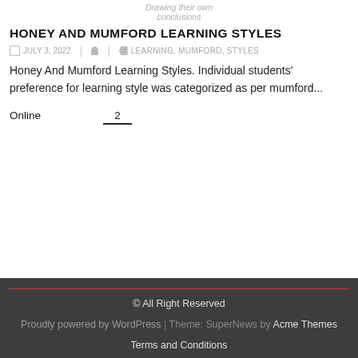Drawing their own conclusions
HONEY AND MUMFORD LEARNING STYLES
JULY 3, 2022   |   LEARNING, MUMFORD, STYLES
Honey And Mumford Learning Styles. Individual students' preference for learning style was categorized as per mumford...
Online   2
© All Right Reserved
Proudly powered by WordPress | Theme: SuperNews by Acme Themes
Terms and Conditions